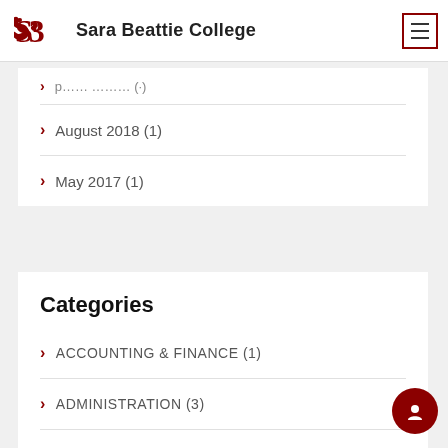Sara Beattie College
August 2018 (1)
May 2017 (1)
Categories
ACCOUNTING & FINANCE (1)
ADMINISTRATION (3)
BUSINESS & MANAGEMENT (6)